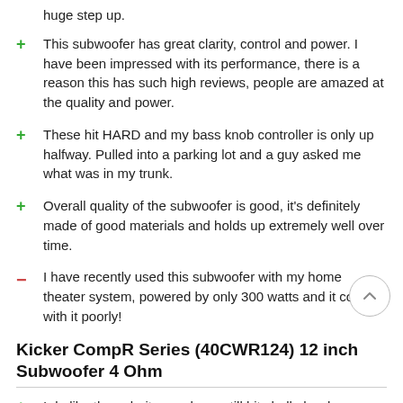huge step up.
This subwoofer has great clarity, control and power. I have been impressed with its performance, there is a reason this has such high reviews, people are amazed at the quality and power.
These hit HARD and my bass knob controller is only up halfway. Pulled into a parking lot and a guy asked me what was in my trunk.
Overall quality of the subwoofer is good, it's definitely made of good materials and holds up extremely well over time.
I have recently used this subwoofer with my home theater system, powered by only 300 watts and it coped with it poorly!
Kicker CompR Series (40CWR124) 12 inch Subwoofer 4 Ohm
I do like the sub, it was clean, still hits hella hard.
It exceeded my expectations. I was gonna start off with one and then get another but I think I might stick to just one. It hits